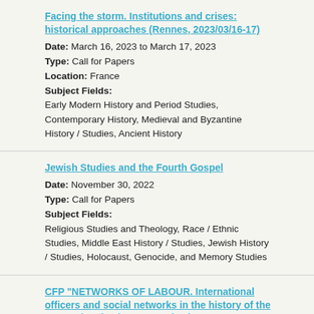Facing the storm. Institutions and crises: historical approaches (Rennes, 2023/03/16-17)
Date: March 16, 2023 to March 17, 2023
Type: Call for Papers
Location: France
Subject Fields:
Early Modern History and Period Studies, Contemporary History, Medieval and Byzantine History / Studies, Ancient History
Jewish Studies and the Fourth Gospel
Date: November 30, 2022
Type: Call for Papers
Subject Fields:
Religious Studies and Theology, Race / Ethnic Studies, Middle East History / Studies, Jewish History / Studies, Holocaust, Genocide, and Memory Studies
CFP "NETWORKS OF LABOUR. International officers and social networks in the history of the International Labour Organization"
Date: October 27, 2022 to October 28, 2022
Type: Call for Papers